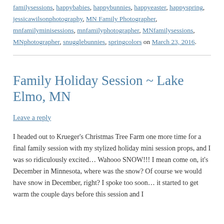familysessions, happybabies, happybunnies, happyeaster, happyspring, jessicawilsonphotography, MN Family Photographer, mnfamilyminisessions, mnfamilyphotographer, MNfamilysessions, MNphotographer, snugglebunnies, springcolors on March 23, 2016.
Family Holiday Session ~ Lake Elmo, MN
Leave a reply
I headed out to Krueger's Christmas Tree Farm one more time for a final family session with my stylized holiday mini session props, and I was so ridiculously excited… Wahooo SNOW!!! I mean come on, it's December in Minnesota, where was the snow? Of course we would have snow in December, right? I spoke too soon… it started to get warm the couple days before this session and I